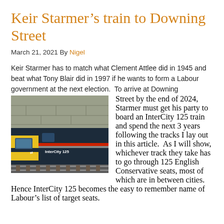Keir Starmer’s train to Downing Street
March 21, 2021 By Nigel
Keir Starmer has to match what Clement Attlee did in 1945 and beat what Tony Blair did in 1997 if he wants to form a Labour government at the next election.  To arrive at Downing Street by the end of 2024, Starmer must get his party to board an InterCity 125 train and spend the next 3 years following the tracks I lay out in this article.  As I will show, whichever track they take has to go through 125 English Conservative seats, most of which are in between cities.  Hence InterCity 125 becomes the easy to remember name of Labour’s list of target seats.
[Figure (photo): A dark navy and yellow InterCity 125 train locomotive photographed from the side, showing the British Rail logo and 'InterCity 125' text on the front cab.]